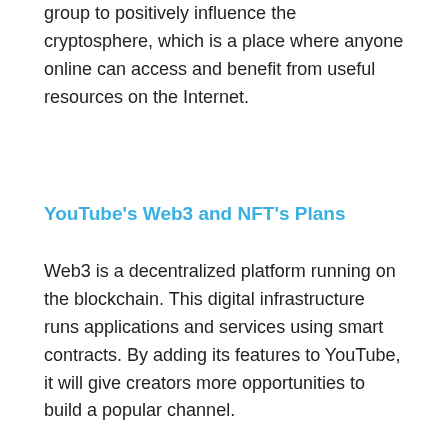group to positively influence the cryptosphere, which is a place where anyone online can access and benefit from useful resources on the Internet.
YouTube's Web3 and NFT's Plans
Web3 is a decentralized platform running on the blockchain. This digital infrastructure runs applications and services using smart contracts. By adding its features to YouTube, it will give creators more opportunities to build a popular channel.
YouTube also aims to connect creators with more viewers through an NFT-based marketplace. Since the platform already allows creators to connect with their fans to see what interests them, creators will soon be able to add NFTs, such as artwork, photos, and original videos, to build even deeper